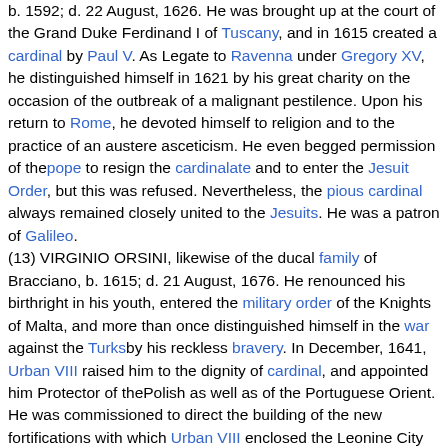b. 1592; d. 22 August, 1626. He was brought up at the court of the Grand Duke Ferdinand I of Tuscany, and in 1615 created a cardinal by Paul V. As Legate to Ravenna under Gregory XV, he distinguished himself in 1621 by his great charity on the occasion of the outbreak of a malignant pestilence. Upon his return to Rome, he devoted himself to religion and to the practice of an austere asceticism. He even begged permission of the pope to resign the cardinalate and to enter the Jesuit Order, but this was refused. Nevertheless, the pious cardinal always remained closely united to the Jesuits. He was a patron of Galileo.
(13) VIRGINIO ORSINI, likewise of the ducal family of Bracciano, b. 1615; d. 21 August, 1676. He renounced his birthright in his youth, entered the military order of the Knights of Malta, and more than once distinguished himself in the war against the Turksby his reckless bravery. In December, 1641, Urban VIII raised him to the dignity of cardinal, and appointed him Protector of thePolish as well as of the Portuguese Orient. He was commissioned to direct the building of the new fortifications with which Urban VIII enclosed the Leonine City and a quarter of Trastevere, and which are still in existence. In 1675 he became Cardinal Bishop ofFrascati, but died the next year, leaving behind him a reputation of a pious, gentle, and benevolent prince of the Church.
Other distinguished family members
In addition to the members of the Orsini family who were prominent as cardinals in the history of the Roman Church, others have gained a place in political history as statesmen, warriors, or patrons of the arts and sciences.
(1) ORSO DI BOBONE, nephew of Pope Celestine III (1191-8) and the first Orsini to hold a conspicuous place in Rome. Under the protection of